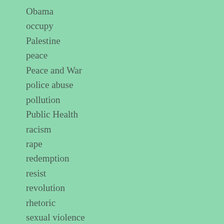Obama
occupy
Palestine
peace
Peace and War
police abuse
pollution
Public Health
racism
rape
redemption
resist
revolution
rhetoric
sexual violence
terror
torture
TPP